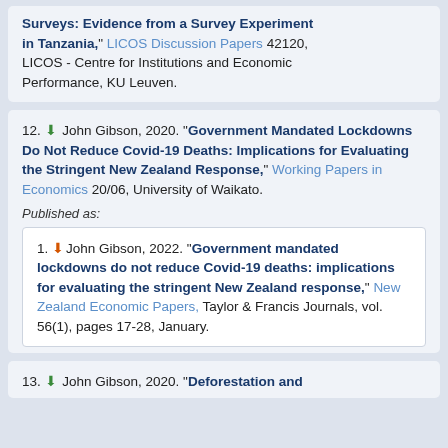Surveys: Evidence from a Survey Experiment in Tanzania," LICOS Discussion Papers 42120, LICOS - Centre for Institutions and Economic Performance, KU Leuven.
12. John Gibson, 2020. "Government Mandated Lockdowns Do Not Reduce Covid-19 Deaths: Implications for Evaluating the Stringent New Zealand Response," Working Papers in Economics 20/06, University of Waikato.
Published as:
1. John Gibson, 2022. "Government mandated lockdowns do not reduce Covid-19 deaths: implications for evaluating the stringent New Zealand response," New Zealand Economic Papers, Taylor & Francis Journals, vol. 56(1), pages 17-28, January.
13. John Gibson, 2020. "Deforestation and